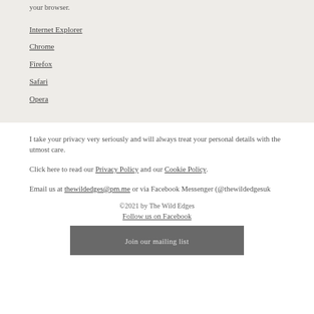your browser.
Internet Explorer
Chrome
Firefox
Safari
Opera
I take your privacy very seriously and will always treat your personal details with the utmost care.
Click here to read our Privacy Policy and our Cookie Policy.
Email us at thewildedges@pm.me or via Facebook Messenger (@thewildedgesuk
©2021 by The Wild Edges
Follow us on Facebook
Join our mailing list